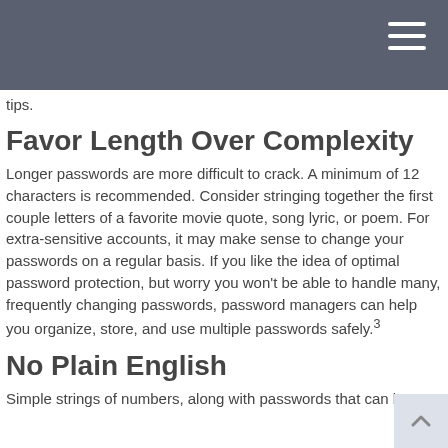tips.
Favor Length Over Complexity
Longer passwords are more difficult to crack. A minimum of 12 characters is recommended. Consider stringing together the first couple letters of a favorite movie quote, song lyric, or poem. For extra-sensitive accounts, it may make sense to change your passwords on a regular basis. If you like the idea of optimal password protection, but worry you won't be able to handle many, frequently changing passwords, password managers can help you organize, store, and use multiple passwords safely.³
No Plain English
Simple strings of numbers, along with passwords that can be